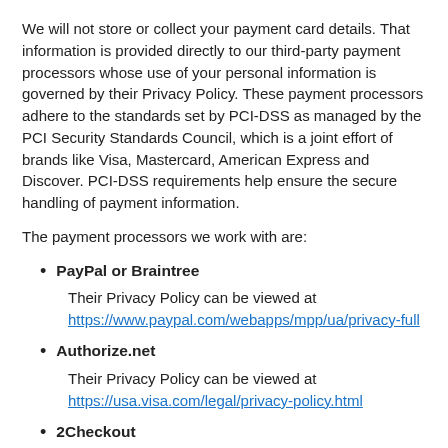We will not store or collect your payment card details. That information is provided directly to our third-party payment processors whose use of your personal information is governed by their Privacy Policy. These payment processors adhere to the standards set by PCI-DSS as managed by the PCI Security Standards Council, which is a joint effort of brands like Visa, Mastercard, American Express and Discover. PCI-DSS requirements help ensure the secure handling of payment information.
The payment processors we work with are:
PayPal or Braintree — Their Privacy Policy can be viewed at https://www.paypal.com/webapps/mpp/ua/privacy-full
Authorize.net — Their Privacy Policy can be viewed at https://usa.visa.com/legal/privacy-policy.html
2Checkout — Their Privacy Policy can be viewed at https://www.2checkout.com/policies/privacy-policy